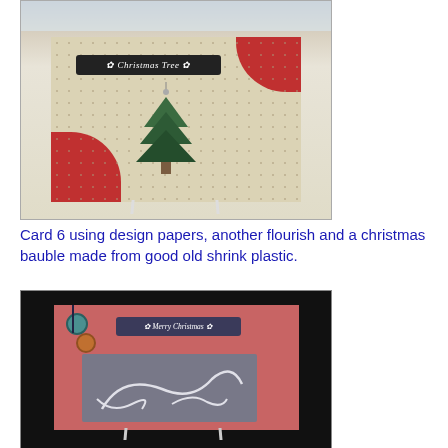[Figure (photo): Photograph of a handmade Christmas card (Card 6) displayed on a card stand on a white surface near a window. The card features design papers with a vintage pattern background, red flourish in corners, a dark banner reading 'Christmas Tree', and a green Christmas tree ornament/bauble made from shrink plastic hanging from the center.]
Card 6 using design papers, another flourish and a christmas bauble made from good old shrink plastic.
[Figure (photo): Photograph of a second handmade Christmas card displayed on a card stand on a wooden surface against a dark background. The card features a coral/pink background with a gray patterned rectangle, white flourish design, ornament decorations, and a dark banner reading 'Merry Christmas'.]